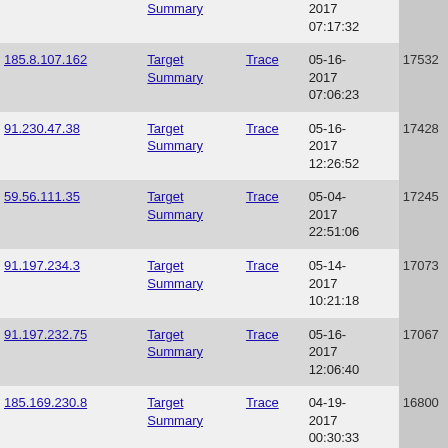| IP | Links | Trace | Date | Count |
| --- | --- | --- | --- | --- |
| (partial) | Summary | Trace | 2017 07:17:32 |  |
| 185.8.107.162 | Target Summary | Trace | 05-16-2017 07:06:23 | 17532 |
| 91.230.47.38 | Target Summary | Trace | 05-16-2017 12:26:52 | 17428 |
| 59.56.111.35 | Target Summary | Trace | 05-04-2017 22:51:06 | 17245 |
| 91.197.234.3 | Target Summary | Trace | 05-14-2017 10:21:18 | 17073 |
| 91.197.232.75 | Target Summary | Trace | 05-16-2017 12:06:40 | 17067 |
| 185.169.230.8 | Target Summary | Trace | 04-19-2017 00:30:33 | 16800 |